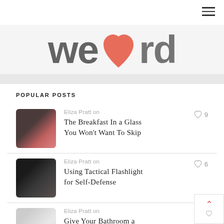[Figure (screenshot): Website header with hamburger menu icon top right]
[Figure (illustration): Large stylized text 'we [heart] rd' where heart is a salmon/coral colored heart shape, dark gray bold text on light gray background]
POPULAR POSTS
Eliza Pratt on
The Breakfast In a Glass You Won't Want To Skip
Eliza Pratt on
Using Tactical Flashlight for Self-Defense
Eliza Pratt on
Give Your Bathroom a